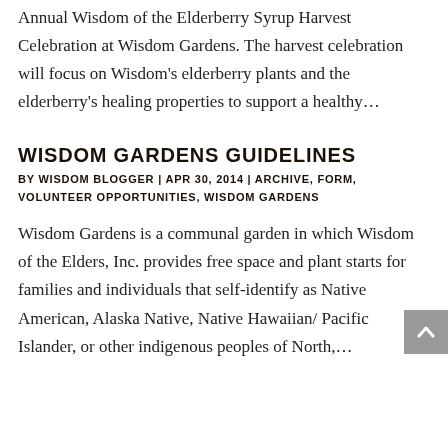Annual Wisdom of the Elderberry Syrup Harvest Celebration at Wisdom Gardens. The harvest celebration will focus on Wisdom’s elderberry plants and the elderberry’s healing properties to support a healthy…
WISDOM GARDENS GUIDELINES
BY WISDOM BLOGGER | APR 30, 2014 | ARCHIVE, FORM, VOLUNTEER OPPORTUNITIES, WISDOM GARDENS
Wisdom Gardens is a communal garden in which Wisdom of the Elders, Inc. provides free space and plant starts for families and individuals that self-identify as Native American, Alaska Native, Native Hawaiian/ Pacific Islander, or other indigenous peoples of North,…